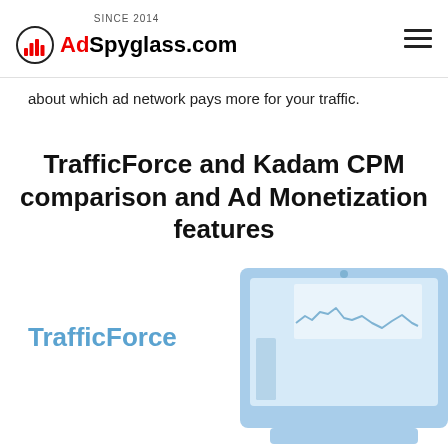SINCE 2014 AdSpyglass.com
about which ad network pays more for your traffic.
TrafficForce and Kadam CPM comparison and Ad Monetization features
TrafficForce
[Figure (illustration): Illustration of a laptop/monitor showing a line chart and bar chart in light blue colors]